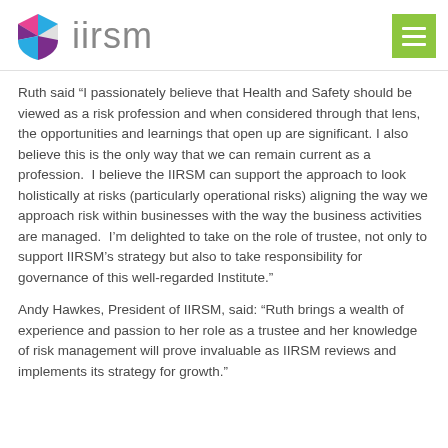[Figure (logo): IIRSM logo with geometric shield icon in pink, blue, and purple, with the text 'iirsm' in grey, and a green hamburger menu button on the right]
Ruth said “I passionately believe that Health and Safety should be viewed as a risk profession and when considered through that lens, the opportunities and learnings that open up are significant. I also believe this is the only way that we can remain current as a profession.  I believe the IIRSM can support the approach to look holistically at risks (particularly operational risks) aligning the way we approach risk within businesses with the way the business activities are managed.  I’m delighted to take on the role of trustee, not only to support IIRSM’s strategy but also to take responsibility for governance of this well-regarded Institute.”
Andy Hawkes, President of IIRSM, said: “Ruth brings a wealth of experience and passion to her role as a trustee and her knowledge of risk management will prove invaluable as IIRSM reviews and implements its strategy for growth.”